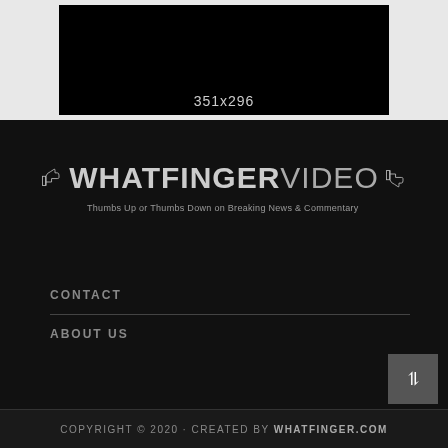[Figure (photo): Partial image placeholder showing 351x296 dimensions on dark background]
[Figure (logo): WhatfingerVideo logo with thumbs up and thumbs down icons. Text reads: WHATFINGERVIDEO Thumbs Up or Thumbs Down on Breaking News & Commentary]
CONTACT
ABOUT US
COPYRIGHT © 2020 · CREATED BY WHATFINGER.COM